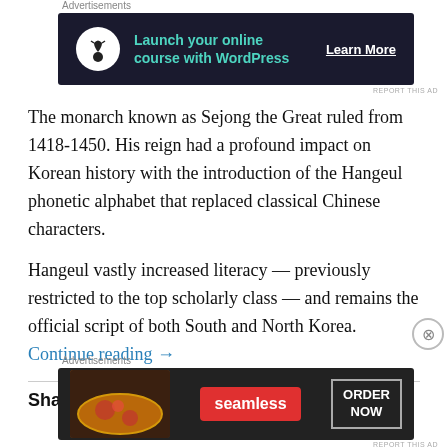[Figure (other): Advertisement banner: dark navy background with tree/bonsai icon in white circle, teal text 'Launch your online course with WordPress', white 'Learn More' button]
The monarch known as Sejong the Great ruled from 1418-1450. His reign had a profound impact on Korean history with the introduction of the Hangeul phonetic alphabet that replaced classical Chinese characters.
Hangeul vastly increased literacy — previously restricted to the top scholarly class — and remains the official script of both South and North Korea. Continue reading →
Share this:
[Figure (other): Advertisement banner: dark background with pizza image, red Seamless logo button, white 'ORDER NOW' button with border]